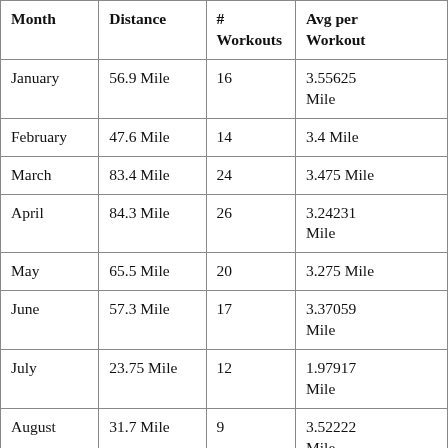| Month | Distance | # Workouts | Avg per Workout |
| --- | --- | --- | --- |
| January | 56.9 Mile | 16 | 3.55625 Mile |
| February | 47.6 Mile | 14 | 3.4 Mile |
| March | 83.4 Mile | 24 | 3.475 Mile |
| April | 84.3 Mile | 26 | 3.24231 Mile |
| May | 65.5 Mile | 20 | 3.275 Mile |
| June | 57.3 Mile | 17 | 3.37059 Mile |
| July | 23.75 Mile | 12 | 1.97917 Mile |
| August | 31.7 Mile | 9 | 3.52222 Mile |